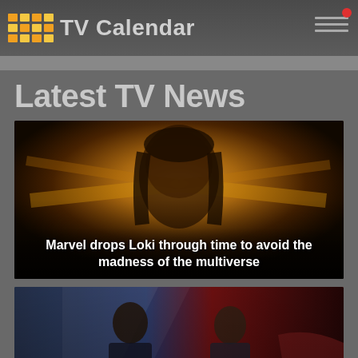TV Calendar
Latest TV News
[Figure (photo): Loki character promotional image with golden glowing background, with text overlay: Marvel drops Loki through time to avoid the madness of the multiverse]
Marvel drops Loki through time to avoid the madness of the multiverse
[Figure (photo): Falcon and Winter Soldier promotional image with patriotic red, white and blue background, two characters in foreground]